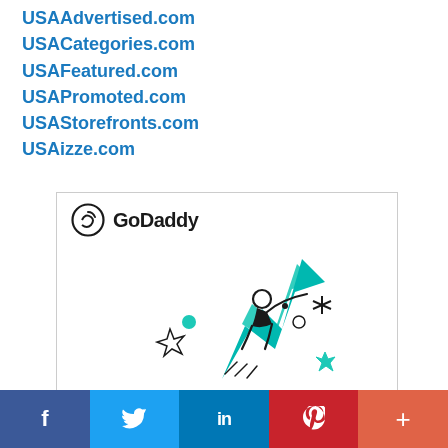USAAdvertised.com
USACategories.com
USAFeatured.com
USAPromoted.com
USAStorefronts.com
USAizze.com
[Figure (illustration): GoDaddy advertisement banner featuring the GoDaddy logo and an illustration of a person riding a teal arrow upward reaching for stars]
f  Twitter  in  Pinterest  +